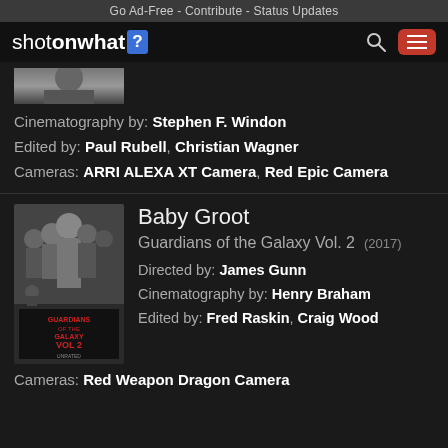Go Ad-Free - Contribute - Status Updates
[Figure (logo): shotonwhat? logo with navigation bar including search and menu icons]
[Figure (photo): Partial movie poster thumbnail (black and white portrait)]
Cinematography by: Stephen F. Windon
Edited by: Paul Rubell, Christian Wagner
Cameras: ARRI ALEXA XT Camera, Red Epic Camera
[Figure (photo): Guardians of the Galaxy Vol. 2 movie poster in black and white with text GUARDIANS OF THE GALAXY VOL 2]
Baby Groot
Guardians of the Galaxy Vol. 2 (2017)
Directed by: James Gunn
Cinematography by: Henry Braham
Edited by: Fred Raskin, Craig Wood
Cameras: Red Weapon Dragon Camera